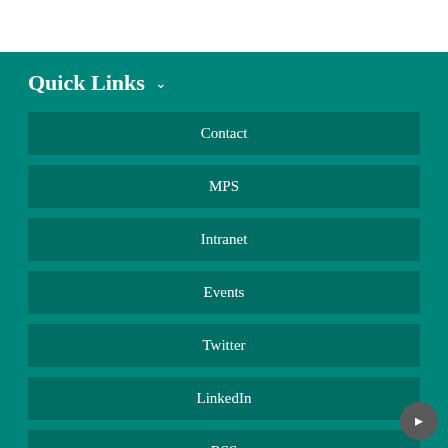Quick Links
Contact
MPS
Intranet
Events
Twitter
LinkedIn
RSS